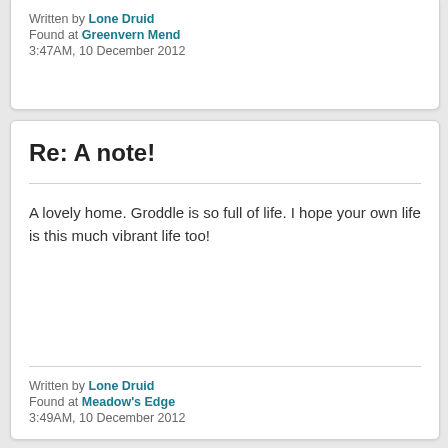Written by Lone Druid
Found at Greenvern Mend
3:47AM, 10 December 2012
Re: A note!
A lovely home. Groddle is so full of life. I hope your own life is this much vibrant life too!
Written by Lone Druid
Found at Meadow's Edge
3:49AM, 10 December 2012